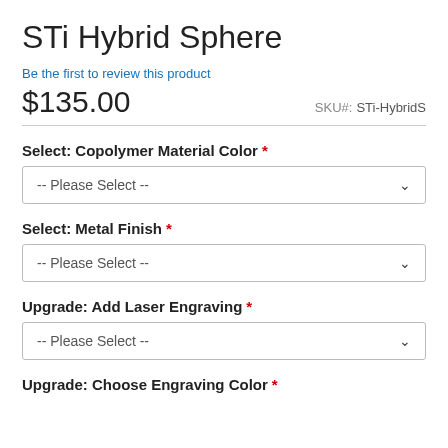STi Hybrid Sphere
Be the first to review this product
$135.00  SKU#: STi-HybridS
Select: Copolymer Material Color *
-- Please Select --
Select: Metal Finish *
-- Please Select --
Upgrade: Add Laser Engraving *
-- Please Select --
Upgrade: Choose Engraving Color *